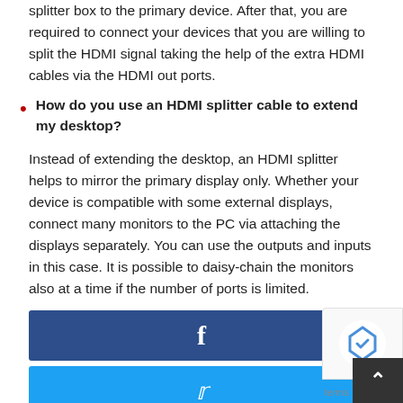splitter box to the primary device. After that, you are required to connect your devices that you are willing to split the HDMI signal taking the help of the extra HDMI cables via the HDMI out ports.
How do you use an HDMI splitter cable to extend my desktop?
Instead of extending the desktop, an HDMI splitter helps to mirror the primary display only. Whether your device is compatible with some external displays, connect many monitors to the PC via attaching the displays separately. You can use the outputs and inputs in this case. It is possible to daisy-chain the monitors also at a time if the number of ports is limited.
[Figure (infographic): Facebook share button (dark blue bar with 'f' icon)]
[Figure (infographic): Twitter share button (light blue bar with bird icon)]
[Figure (infographic): Pinterest share button (red bar, partially visible)]